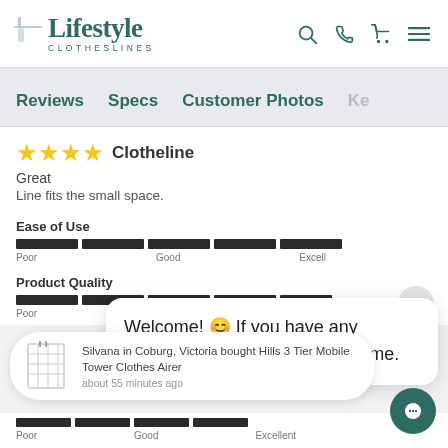[Figure (logo): Lifestyle Clotheslines logo with teal text and small clothesline icon]
Lifestyle CLOTHESLINES
Reviews   Specs   Customer Photos   Ke
★★★★  Clotheline
Great
Line fits the small space.
Ease of Use
Poor   Good   Excell
Product Quality
Poor   Good   Excel
Welcome! 😊 If you have any questions Im here to help anytime.
Silvana in Coburg, Victoria bought Hills 3 Tier Mobile Tower Clothes Airer
about 55 minutes ago
Poor   Good   Excellent